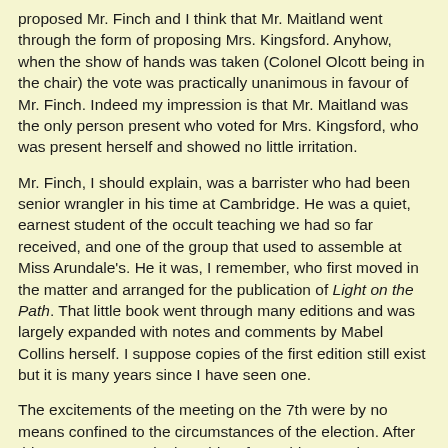proposed Mr. Finch and I think that Mr. Maitland went through the form of proposing Mrs. Kingsford. Anyhow, when the show of hands was taken (Colonel Olcott being in the chair) the vote was practically unanimous in favour of Mr. Finch. Indeed my impression is that Mr. Maitland was the only person present who voted for Mrs. Kingsford, who was present herself and showed no little irritation.
Mr. Finch, I should explain, was a barrister who had been senior wrangler in his time at Cambridge. He was a quiet, earnest student of the occult teaching we had so far received, and one of the group that used to assemble at Miss Arundale's. He it was, I remember, who first moved in the matter and arranged for the publication of Light on the Path. That little book went through many editions and was largely expanded with notes and comments by Mabel Collins herself. I suppose copies of the first edition still exist but it is many years since I have seen one.
The excitements of the meeting on the 7th were by no means confined to the circumstances of the election. After this was over I was in the midst of an address to the meeting when a disturbance at the door interrupted me and in a moment the whole room was [Page 56] aware that Madame Blavatsky had arrived. I broke off and went to meet her. A